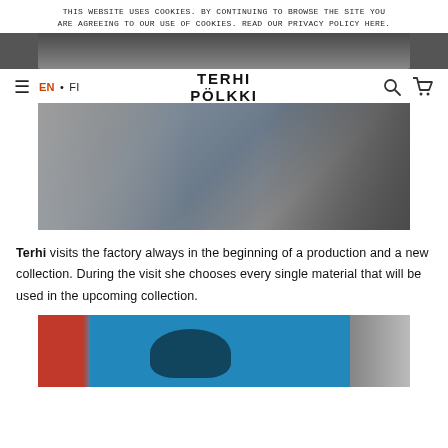THIS WEBSITE USES COOKIES. BY CONTINUING TO BROWSE THE SITE YOU ARE AGREEING TO OUR USE OF COOKIES. READ OUR PRIVACY POLICY HERE.
[Figure (photo): Top portion of a person photo, cropped at top of page]
TERHI PÖLKKI
[Figure (photo): Person standing in a factory/warehouse, wearing a black top and blue jeans, surrounded by shelves and materials]
Terhi visits the factory always in the beginning of a production and a new collection. During the visit she chooses every single material that will be used in the upcoming collection.
[Figure (photo): A person with blonde hair in a room with blue walls, red binders on shelves, and a desk lamp]